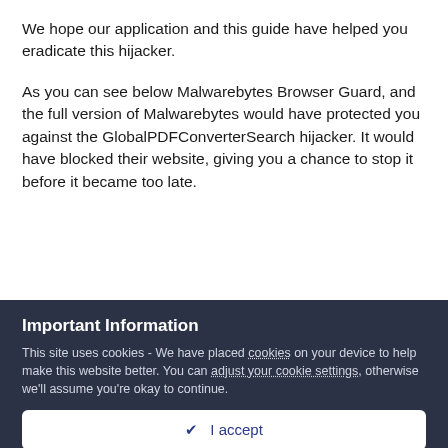We hope our application and this guide have helped you eradicate this hijacker.
As you can see below Malwarebytes Browser Guard, and the full version of Malwarebytes would have protected you against the GlobalPDFConverterSearch hijacker. It would have blocked their website, giving you a chance to stop it before it became too late.
[Figure (screenshot): Partial screenshot of a browser notification bar with a green bar on the left, blue link text, and an X close button on the right.]
Important Information
This site uses cookies - We have placed cookies on your device to help make this website better. You can adjust your cookie settings, otherwise we'll assume you're okay to continue.
✓  I accept